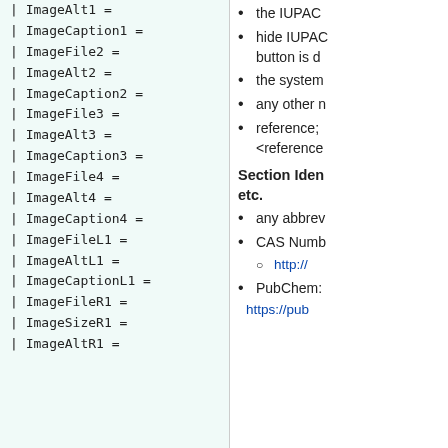| ImageAlt1 =
| ImageCaption1 =
| ImageFile2 =
| ImageAlt2 =
| ImageCaption2 =
| ImageFile3 =
| ImageAlt3 =
| ImageCaption3 =
| ImageFile4 =
| ImageAlt4 =
| ImageCaption4 =
| ImageFileL1 =
| ImageAltL1 =
| ImageCaptionL1 =
| ImageFileR1 =
| ImageSizeR1 =
| ImageAltR1 =
the IUPAC
hide IUPAC button is d
the system
any other n
reference; <reference
Section Iden etc.
any abbre
CAS Numb
http://
PubChem:
https://pub